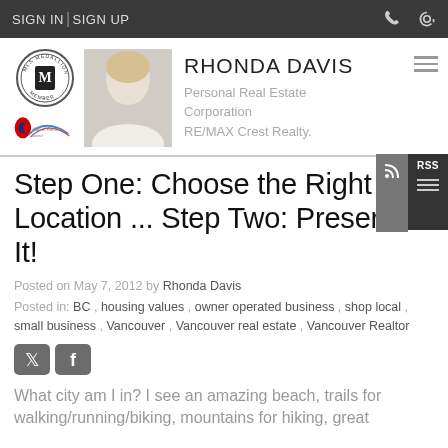SIGN IN | SIGN UP
[Figure (logo): Rhonda Davis profile header with MLS Medallion Club badge, Hall of Fame Award logo, profile photo, name and title]
Step One: Choose the Right Location ... Step Two: Preserve It!
Posted on May 7, 2012 by Rhonda Davis
Posted in: BC , housing values , owner operated business , shop local , small business , Vancouver , Vancouver real estate , Vancouver Realtor
[Figure (other): Twitter and Facebook social share icons]
What city am I in? I see an amazing beach, trails for walking/running/biking, mountains for hiking, great